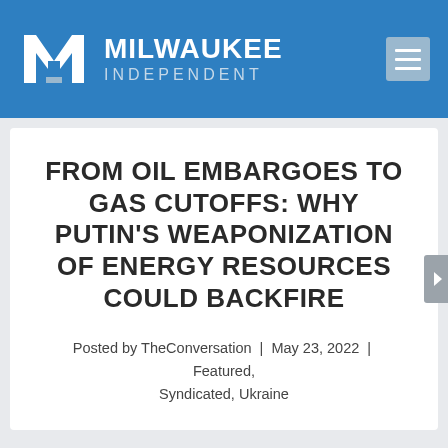[Figure (logo): Milwaukee Independent logo with blue background, M icon, and hamburger menu button]
FROM OIL EMBARGOES TO GAS CUTOFFS: WHY PUTIN'S WEAPONIZATION OF ENERGY RESOURCES COULD BACKFIRE
Posted by TheConversation | May 23, 2022 | Featured, Syndicated, Ukraine